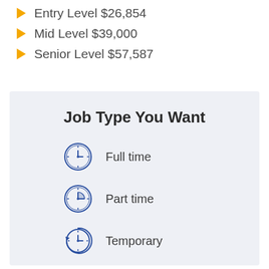Entry Level $26,854
Mid Level $39,000
Senior Level $57,587
Job Type You Want
Full time
Part time
Temporary